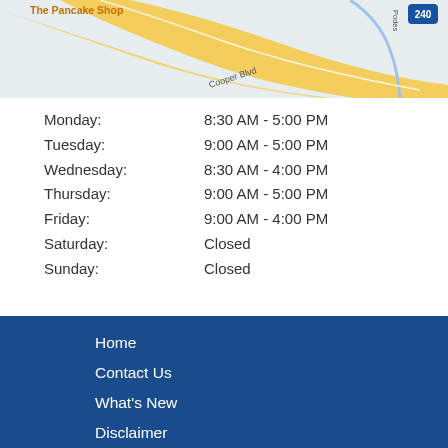[Figure (map): Street map showing The Pancake Shop location near Cooper Blvd and Boswell Ave, with highway 240 visible in upper right]
Monday: 8:30 AM - 5:00 PM
Tuesday: 9:00 AM - 5:00 PM
Wednesday: 8:30 AM - 4:00 PM
Thursday: 9:00 AM - 5:00 PM
Friday: 9:00 AM - 4:00 PM
Saturday: Closed
Sunday: Closed
Home
Contact Us
What's New
Disclaimer